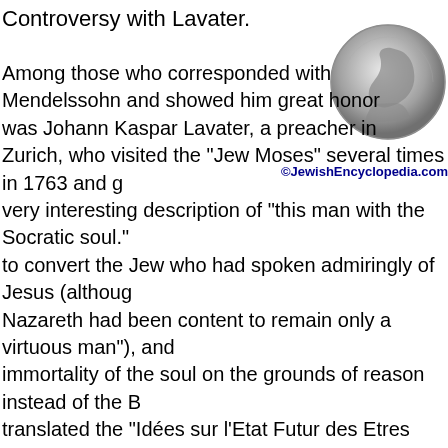Controversy with Lavater.
[Figure (photo): A grayscale photograph of a coin or medallion showing a profile portrait relief.]
©JewishEncyclopedia.com
Among those who corresponded with Mendelssohn and showed him great honor was Johann Kaspar Lavater, a preacher in Zurich, who visited the "Jew Moses" several times in 1763 and gave a very interesting description of "this man with the Socratic soul." to convert the Jew who had spoken admiringly of Jesus (although Nazareth had been content to remain only a virtuous man"), and immortality of the soul on the grounds of reason instead of the B translated the "Idées sur l'Etat Futur des Etres Vivants, ou Palin Charles Bonnet, a professor at Geneva, entitling his version "Ur Christenthum," and sent it to Mendelssohn with an introduction "either to refute the book publicly, or, if he found it logical, to do honor required and what Socrates would have done if he had re irrefutable." This rash step, distasteful to Bonnet and soon regre painfulimpression upon the friends of Mendelssohn and upon a